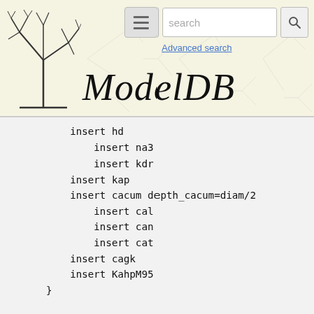ModelDB — Advanced search
insert hd
    insert na3
    insert kdr
insert kap
insert cacum depth_cacum=diam/2
    insert cal
    insert can
    insert cat
insert cagk
insert KahpM95
}

forsec "soma" {
    insert hd
        insert na3
        insert kdr
    insert kap
    insert km
    insert cacum depth_cacum=diam/2
        insert cal